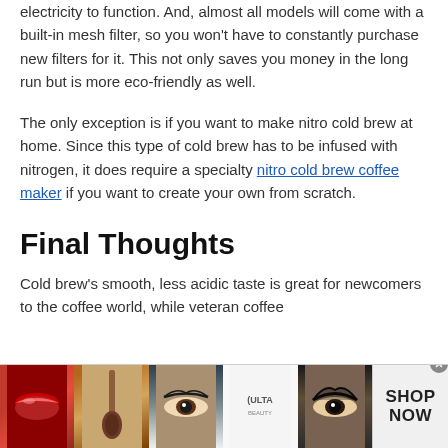electricity to function. And, almost all models will come with a built-in mesh filter, so you won't have to constantly purchase new filters for it. This not only saves you money in the long run but is more eco-friendly as well.
The only exception is if you want to make nitro cold brew at home. Since this type of cold brew has to be infused with nitrogen, it does require a specialty nitro cold brew coffee maker if you want to create your own from scratch.
Final Thoughts
Cold brew's smooth, less acidic taste is great for newcomers to the coffee world, while veteran coffee
[Figure (photo): Advertisement banner for ULTA beauty showing makeup photos (lips, brush, eye makeup) with SHOP NOW call to action]